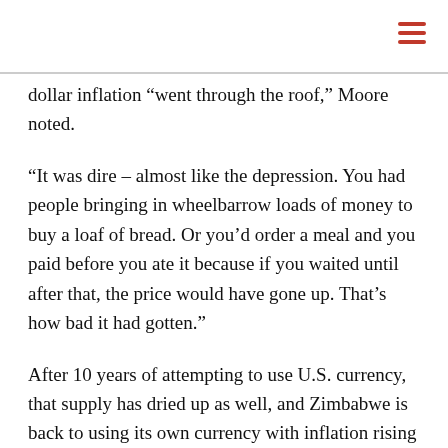dollar inflation “went through the roof,” Moore noted.
“It was dire – almost like the depression. You had people bringing in wheelbarrow loads of money to buy a loaf of bread. Or you’d order a meal and you paid before you ate it because if you waited until after that, the price would have gone up. That’s how bad it had gotten.”
After 10 years of attempting to use U.S. currency, that supply has dried up as well, and Zimbabwe is back to using its own currency with inflation rising